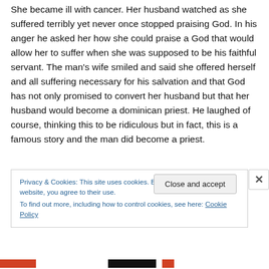She became ill with cancer. Her husband watched as she suffered terribly yet never once stopped praising God. In his anger he asked her how she could praise a God that would allow her to suffer when she was supposed to be his faithful servant. The man's wife smiled and said she offered herself and all suffering necessary for his salvation and that God has not only promised to convert her husband but that her husband would become a dominican priest. He laughed of course, thinking this to be ridiculous but in fact, this is a famous story and the man did become a priest.
Privacy & Cookies: This site uses cookies. By continuing to use this website, you agree to their use.
To find out more, including how to control cookies, see here: Cookie Policy
Close and accept